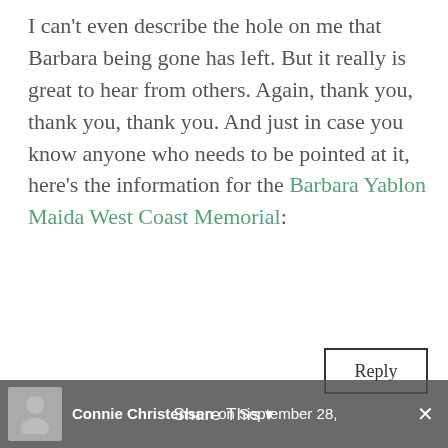I can't even describe the hole on me that Barbara being gone has left. But it really is great to hear from others. Again, thank you, thank you, thank you. And just in case you know anyone who needs to be pointed at it, here's the information for the Barbara Yablon Maida West Coast Memorial:
Reply
Connie Christensen on September 28,
Share This